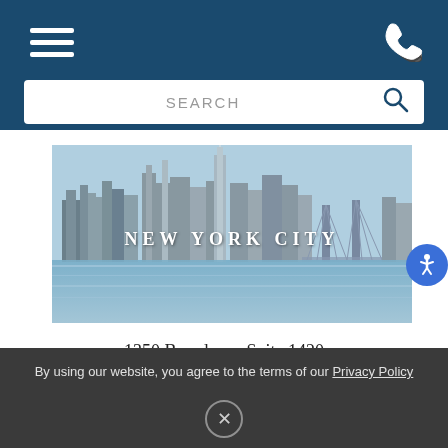[Figure (screenshot): Navy blue header bar with hamburger menu icon on the left and phone icon on the right, with a white search bar containing 'SEARCH' text and a magnifying glass icon]
[Figure (photo): New York City skyline panorama showing Manhattan skyscrapers and Brooklyn Bridge reflected in water, with 'NEW YORK CITY' text overlay in white letters]
1350 Broadway, Suite 1420
New York, NY 10018
By using our website, you agree to the terms of our Privacy Policy